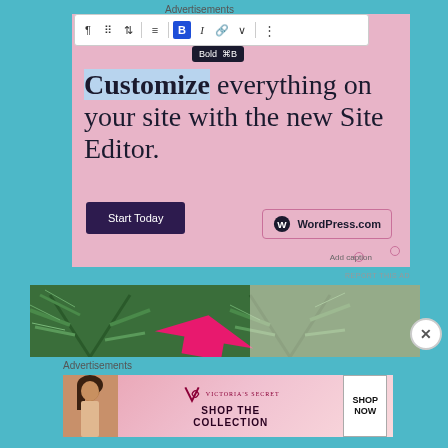Advertisements
[Figure (screenshot): WordPress.com advertisement showing a block editor toolbar with Bold button tooltip, pink background with text 'Customize everything on your site with the new Site Editor.' and a 'Start Today' button, with WordPress.com logo in a selection box and 'Add caption' text below]
REPORT THIS AD
[Figure (photo): Pine tree branches with pink arrow overlay, close/X button overlay]
Advertisements
[Figure (photo): Victoria's Secret advertisement banner with model, VS logo, 'SHOP THE COLLECTION' text and 'SHOP NOW' white button]